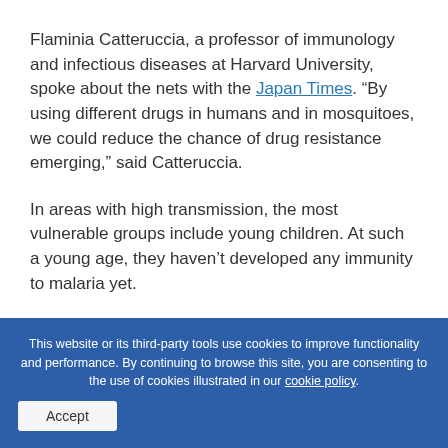Flaminia Catteruccia, a professor of immunology and infectious diseases at Harvard University, spoke about the nets with the Japan Times. “By using different drugs in humans and in mosquitoes, we could reduce the chance of drug resistance emerging,” said Catteruccia.
In areas with high transmission, the most vulnerable groups include young children. At such a young age, they haven’t developed any immunity to malaria yet.
This website or its third-party tools use cookies to improve functionality and performance. By continuing to browse this site, you are consenting to the use of cookies illustrated in our cookie policy.